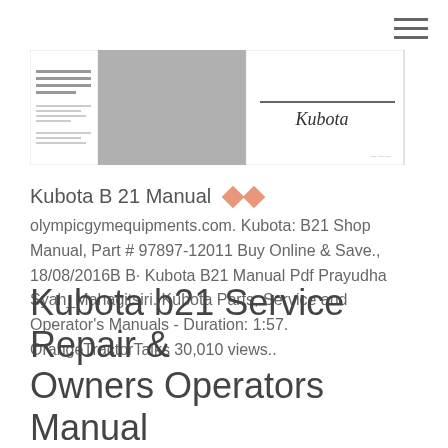[Figure (screenshot): Kubota manual cover page thumbnail showing grey panels and Kubota logo]
Kubota B 21 Manual
olympicgymequipments.com. Kubota: B21 Shop Manual, Part # 97897-12011 Buy Online & Save., 18/08/2016B B· Kubota B21 Manual Pdf Prayudha Syah_Mahagitsiri. Kubota Parts, Service and Operator's Manuals - Duration: 1:57. OrangeTractorTalks 30,010 views..
Kubota b21 Service Repair & Owners Operators Manual